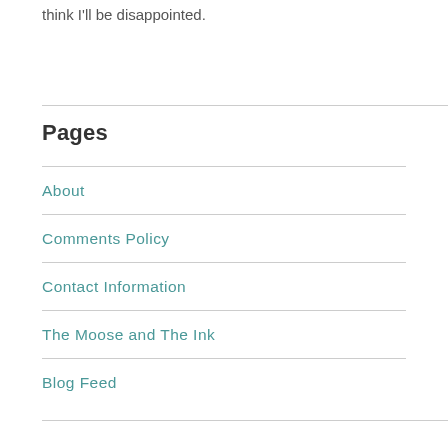think I'll be disappointed.
Pages
About
Comments Policy
Contact Information
The Moose and The Ink
Blog Feed